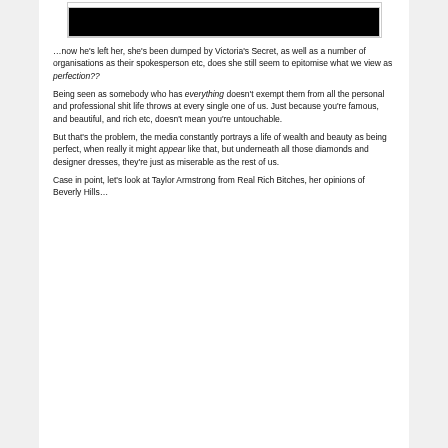[Figure (photo): A black rectangular image at the top of the page, likely a redacted or dark photograph.]
…now he's left her, she's been dumped by Victoria's Secret, as well as a number of organisations as their spokesperson etc, does she still seem to epitomise what we view as perfection??
Being seen as somebody who has everything doesn't exempt them from all the personal and professional shit life throws at every single one of us. Just because you're famous, and beautiful, and rich etc, doesn't mean you're untouchable.
But that's the problem, the media constantly portrays a life of wealth and beauty as being perfect, when really it might appear like that, but underneath all those diamonds and designer dresses, they're just as miserable as the rest of us.
Case in point, let's look at Taylor Armstrong from Real Rich Bitches, her opinions of Beverly Hills…